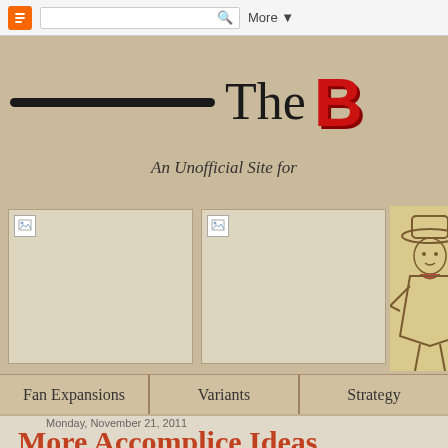Blogger navbar with search and More
— The B[ang!] An Unofficial Site for
[Figure (other): Two broken image placeholders side by side and a cowboy illustration partially visible on the right]
Fan Expansions | Variants | Strategy
Monday, November 21, 2011
More Accomplice Ideas